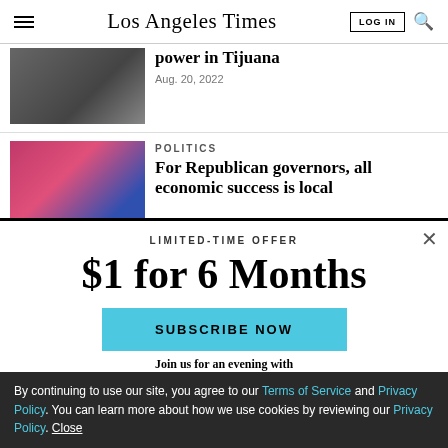Los Angeles Times
[Figure (photo): Partial image of machinery or military equipment, cut off at top]
power in Tijuana
Aug. 20, 2022
[Figure (photo): Man in suit speaking at podium on stage with pink/blue background and star decorations]
POLITICS
For Republican governors, all economic success is local
LIMITED-TIME OFFER
$1 for 6 Months
SUBSCRIBE NOW
Join us for an evening with
By continuing to use our site, you agree to our Terms of Service and Privacy Policy. You can learn more about how we use cookies by reviewing our Privacy Policy. Close